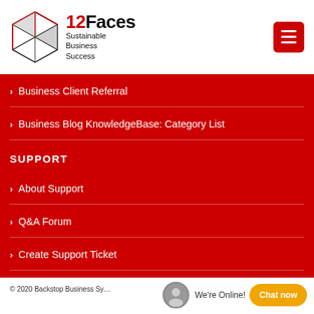[Figure (logo): 12Faces logo with geometric polyhedron icon and text '12Faces Sustainable Business Success']
Business Client Referral
Business Blog KnowledgeBase: Category List
SUPPORT
About Support
Q&A Forum
Create Support Ticket
© 2020 Backstop Business Sy…
We're Online! Chat now